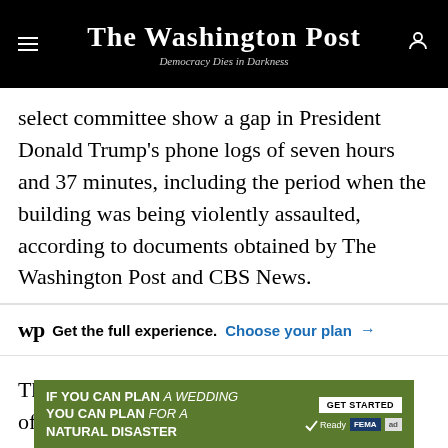The Washington Post — Democracy Dies in Darkness
select committee show a gap in President Donald Trump's phone logs of seven hours and 37 minutes, including the period when the building was being violently assaulted, according to documents obtained by The Washington Post and CBS News.
wp Get the full experience. Choose your plan →
The lack of an official White House notation of any calls placed to or by Trump for 457 minutes on Jan. 6, 2021 — from 11:17 a.m. to 6:54 p.m. — means the
[Figure (other): Green advertisement banner: IF YOU CAN PLAN A WEDDING YOU CAN PLAN FOR A NATURAL DISASTER — Ready, FEMA logos, GET STARTED button, ad badge]